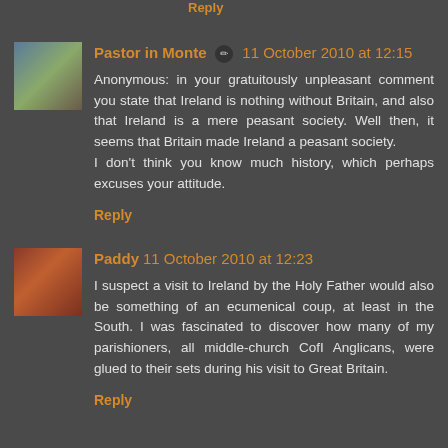Reply
Pastor in Monte ✏ 11 October 2010 at 12:15
Anonymous: in your gratuitously unpleasant comment you state that Ireland is nothing without Britain, and also that Ireland is a mere peasant society. Well then, it seems that Britain made Ireland a peasant society.
I don't think you know much history, which perhaps excuses your attitude.
Reply
Paddy 11 October 2010 at 12:23
I suspect a visit to Ireland by the Holy Father would also be something of an ecumenical coup, at least in the South. I was fascinated to discover how many of my parishioners, all middle-church CofI Anglicans, were glued to their sets during his visit to Great Britain.
Reply